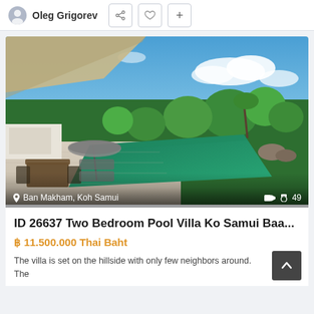Oleg Grigorev
[Figure (photo): Outdoor pool villa with infinity pool, patio with umbrella and lounge chairs, lush tropical greenery and blue sky in background. Location: Ban Makham, Koh Samui. Photo count: 49.]
ID 26637 Two Bedroom Pool Villa Ko Samui Baa...
฿ 11.500.000 Thai Baht
The villa is set on the hillside with only few neighbors around. The